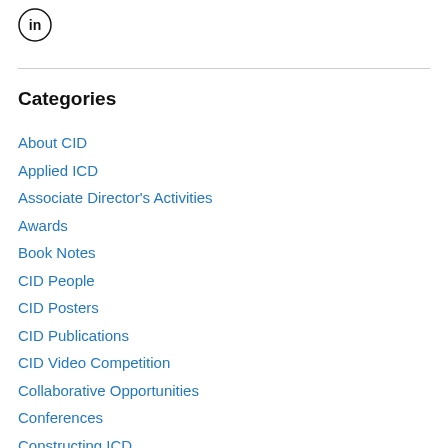[Figure (logo): LinkedIn logo icon — circle with 'in' text]
Categories
About CID
Applied ICD
Associate Director's Activities
Awards
Book Notes
CID People
CID Posters
CID Publications
CID Video Competition
Collaborative Opportunities
Conferences
Constructing ICD
Director's activities
Events